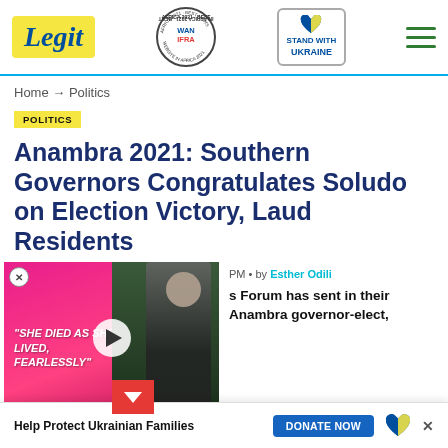Legit | WAN IFRA 2021 Best News Website in Africa | Stand With Ukraine
Home → Politics
POLITICS
Anambra 2021: Southern Governors Congratulates Soludo on Election Victory, Laud Residents
[Figure (screenshot): Video popup overlay showing text 'SHE DIED AS SHE LIVED, FEARLESSLY' on pink background with a man in suit on green background, play button in center, red chevron down button, and close X button]
PM • by Esther Odili
s Forum has sent in their Anambra governor-elect,
[Figure (infographic): Help Protect Ukrainian Families banner with Donate Now button and Ukraine heart flag icon]